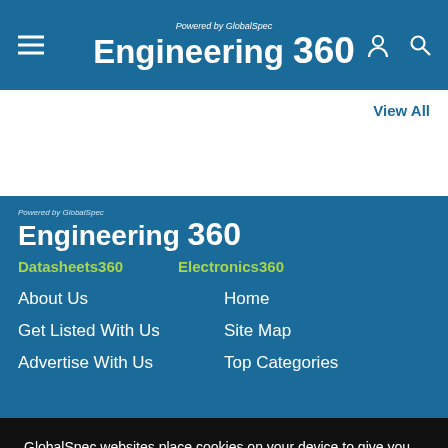Powered by GlobalSpec Engineering 360
View All
[Figure (logo): Engineering 360 logo with 'Powered by GlobalSpec' above, white text on blue background]
Datasheets360
Electronics360
About Us
Home
Get Listed With Us
Site Map
Advertise With Us
Top Categories
GlobalSpec websites place cookies on your device to give you the best user experience. By using our websites, you agree to the placement of these cookies. To learn more, read our  Privacy Policy
Accept & Close